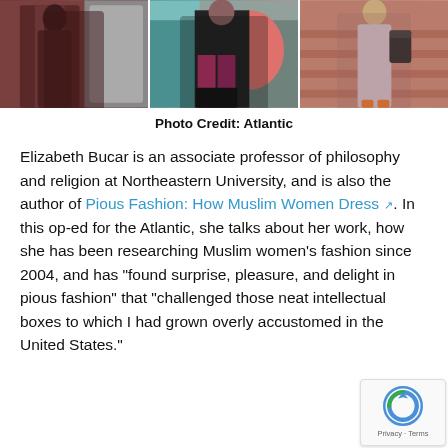[Figure (photo): Three-panel photo strip showing Muslim women in fashionable clothing. Left panel: woman in dark maroon/burgundy long dress. Middle panel: woman with colorful patterned leggings and black boots in front of graffiti wall. Right panel: woman in light mauve outfit on brick stairs carrying a black handbag.]
Photo Credit: Atlantic
Elizabeth Bucar is an associate professor of philosophy and religion at Northeastern University, and is also the author of Pious Fashion: How Muslim Women Dress. In this op-ed for the Atlantic, she talks about her work, how she has been researching Muslim women’s fashion since 2004, and has “found surprise, pleasure, and delight in pious fashion” that “challenged those neat intellectual boxes to which I had grown overly accustomed in the United States.”